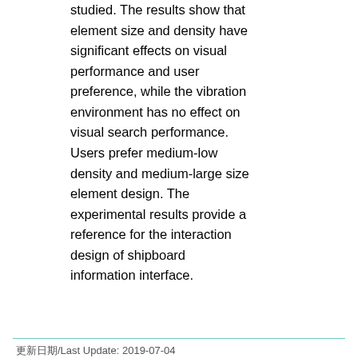studied. The results show that element size and density have significant effects on visual performance and user preference, while the vibration environment has no effect on visual search performance. Users prefer medium-low density and medium-large size element design. The experimental results provide a reference for the interaction design of shipboard information interface.
更新日期/Last Update: 2019-07-04